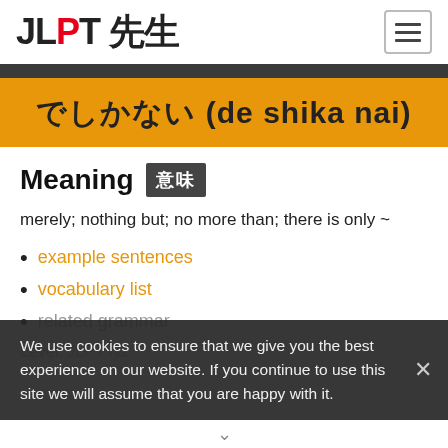JLPT 先生
でしかない (de shika nai)
Meaning 意味
merely; nothing but; no more than; there is only ~
example sentences
vocabulary list
related grammar
Level: JLPT N2
We use cookies to ensure that we give you the best experience on our website. If you continue to use this site we will assume that you are happy with it.